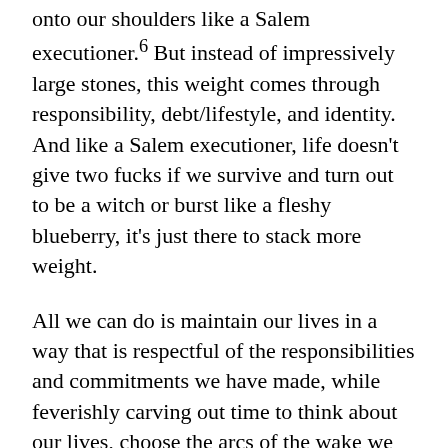onto our shoulders like a Salem executioner.6 But instead of impressively large stones, this weight comes through responsibility, debt/lifestyle, and identity. And like a Salem executioner, life doesn't give two fucks if we survive and turn out to be a witch or burst like a fleshy blueberry, it's just there to stack more weight.
All we can do is maintain our lives in a way that is respectful of the responsibilities and commitments we have made, while feverishly carving out time to think about our lives, choose the arcs of the wake we want to explore, and act. It's a cycle of identify, reflect, choose, act, repeat – and it's the most